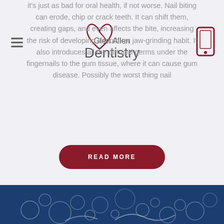Glen Allen Dentistry
it's just as bad for oral health, if not worse. Nail biting can erode, chip or crack teeth. It can shift them, creating gaps, and even affects the bite, increasing the risk of developing a tooth- or jaw-grinding habit. It also introduces all the dirt and germs under the fingernails to the gum tissue, where it can cause gum disease. Possibly the worst thing nail
READ MORE
1 2 3 4 5 6 7 8 9 10 11 12 13 14 15 16 17 18 19 20 21 22 23
[Figure (photo): Blue background with bubbles/foam pattern at bottom of page]